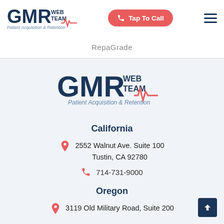[Figure (logo): GMR Web Team logo - Patient Acquisition & Retention (navigation bar)]
[Figure (other): Tap To Call button (red pill-shaped button)]
[Figure (other): Hamburger menu icon (three horizontal lines)]
RepaGrade
[Figure (logo): GMR Web Team logo - Patient Acquisition & Retention (center, larger)]
California
2552 Walnut Ave. Suite 100
Tustin, CA 92780
714-731-9000
Oregon
3119 Old Military Road, Suite 200